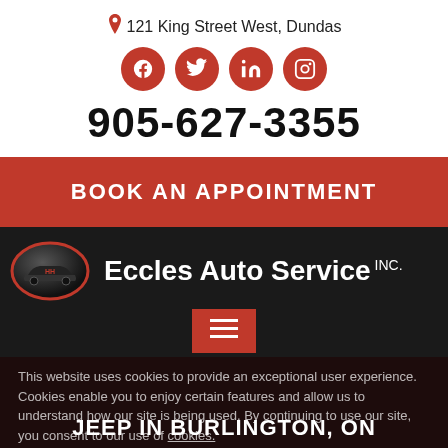121 King Street West, Dundas
[Figure (infographic): Four red circular social media icons: Facebook, Twitter, LinkedIn, Instagram]
905-627-3355
BOOK AN APPOINTMENT
[Figure (logo): Eccles Auto Service INC. logo with oval emblem containing a car silhouette on dark background]
JEEP IN BURLINGTON, ON
This website uses cookies to provide an exceptional user experience. Cookies enable you to enjoy certain features and allow us to understand how our site is being used. By continuing to use our site, you consent to our use of cookies.
Decline
Accept Cookies
Home >> Jeep in Burlington, ON